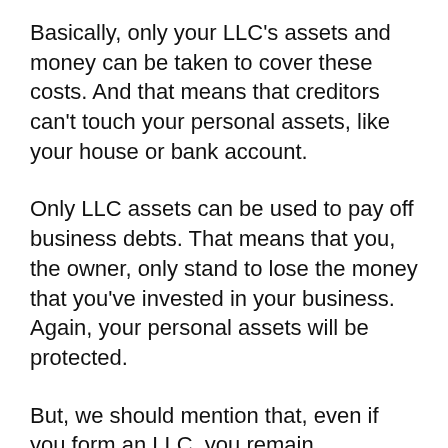Basically, only your LLC's assets and money can be taken to cover these costs. And that means that creditors can't touch your personal assets, like your house or bank account.
Only LLC assets can be used to pay off business debts. That means that you, the owner, only stand to lose the money that you've invested in your business. Again, your personal assets will be protected.
But, we should mention that, even if you form an LLC, you remain personally responsible for your own wrongdoing, such as professional malpractice or fraud. So keep that liability insurance policy just